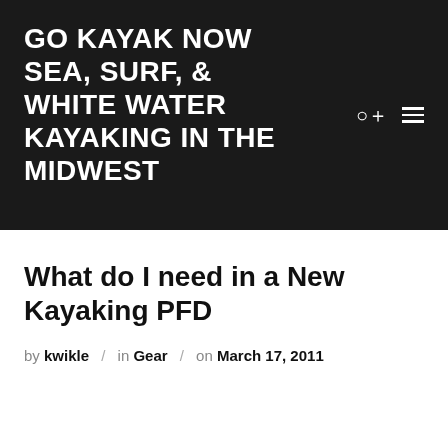GO KAYAK NOW SEA, SURF, & WHITE WATER KAYAKING IN THE MIDWEST
What do I need in a New Kayaking PFD
by kwikle / in Gear / on March 17, 2011